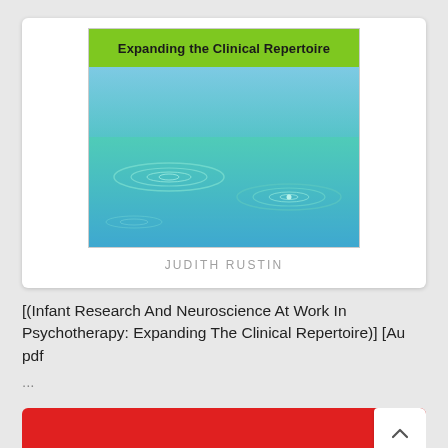[Figure (illustration): Book cover for 'Infant Research And Neuroscience At Work In Psychotherapy: Expanding the Clinical Repertoire' by Judith Rustin. Green banner at top with bold title text, below is a blue-green water ripple image. Author name 'JUDITH RUSTIN' in gray spaced letters below the cover.]
[(Infant Research And Neuroscience At Work In Psychotherapy: Expanding The Clinical Repertoire)] [Au pdf
...
[Figure (other): Red card/banner at the bottom of the page, partially visible, with a white scroll-to-top button (caret/chevron up arrow) at the top-right corner.]